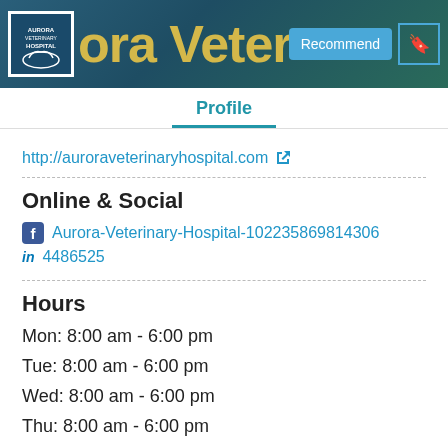Aurora Veterinary Hospital
Profile
http://auroraveterinaryhospital.com
Online & Social
Aurora-Veterinary-Hospital-102235869814306
4486525
Hours
Mon: 8:00 am - 6:00 pm
Tue: 8:00 am - 6:00 pm
Wed: 8:00 am - 6:00 pm
Thu: 8:00 am - 6:00 pm